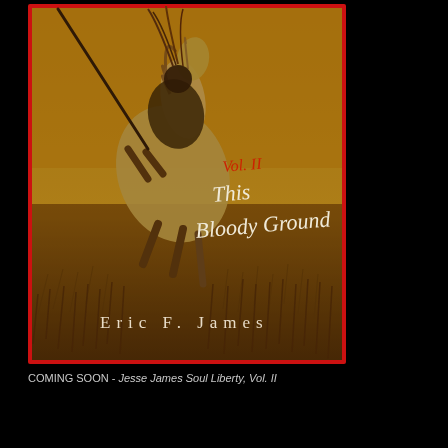[Figure (illustration): Sepia-toned book cover illustration showing a Native American warrior on a rearing horse, holding a spear, amid tall grass prairie. The cover has a red border. Text overlaid reads 'Vol. II This Bloody Ground' in white handwritten script, 'Vol. II' in red cursive, and 'Eric F. James' in spaced serif letters at the bottom.]
COMING SOON - Jesse James Soul Liberty, Vol. II